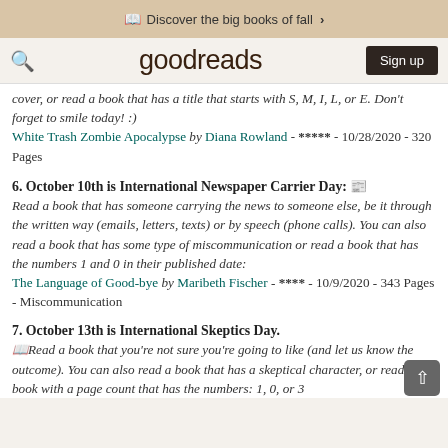Discover the big books of fall ›
[Figure (logo): Goodreads logo with search icon and Sign up button]
cover, or read a book that has a title that starts with S, M, I, L, or E. Don't forget to smile today! :)
White Trash Zombie Apocalypse by Diana Rowland - ***** - 10/28/2020 - 320 Pages
6. October 10th is International Newspaper Carrier Day: 📰 Read a book that has someone carrying the news to someone else, be it through the written way (emails, letters, texts) or by speech (phone calls). You can also read a book that has some type of miscommunication or read a book that has the numbers 1 and 0 in their published date:
The Language of Good-bye by Maribeth Fischer - **** - 10/9/2020 - 343 Pages - Miscommunication
7. October 13th is International Skeptics Day. 📖Read a book that you're not sure you're going to like (and let us know the outcome). You can also read a book that has a skeptical character, or read a book with a page count that has the numbers: 1, 0, or 3